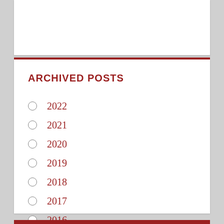ARCHIVED POSTS
2022
2021
2020
2019
2018
2017
2016
2015
2014